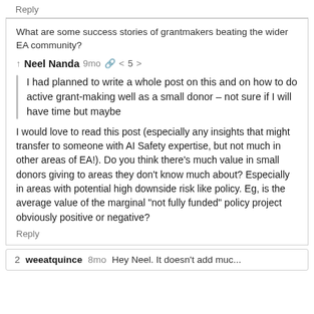Reply
What are some success stories of grantmakers beating the wider EA community?
↑ Neel Nanda 9mo 🔗 < 5 >
I had planned to write a whole post on this and on how to do active grant-making well as a small donor – not sure if I will have time but maybe
I would love to read this post (especially any insights that might transfer to someone with AI Safety expertise, but not much in other areas of EA!). Do you think there's much value in small donors giving to areas they don't know much about? Especially in areas with potential high downside risk like policy. Eg, is the average value of the marginal "not fully funded" policy project obviously positive or negative?
Reply
2 weeatquince 8mo Hey Neel. It doesn't add muc...